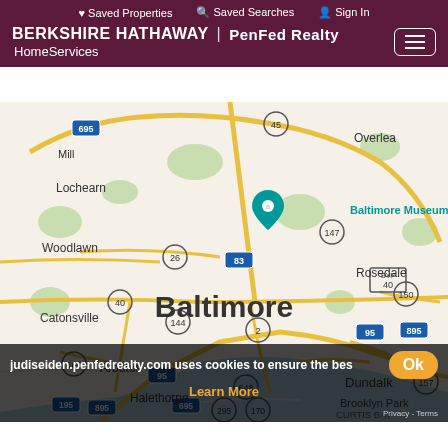Saved Properties  Saved Searches  Sign In
BERKSHIRE HATHAWAY | PenFed Realty HomeServices
[Figure (map): Google Maps view of Baltimore, MD area showing surrounding neighborhoods including Lochearn, Woodlawn, Catonsville, Arbutus, Halethorpe, Rosedale, Dundalk, Overlea, Brooklyn Park, Curtis Bay, and highways 695, 83, 895, 95, 40, 150, 157, 166, 144, 648, 295, 170. A teal pin marks the Baltimore Museum of Art.]
judiseiden.penfedrealty.com uses cookies to ensure the bes
Learn More
Ok
Privacy - Terms